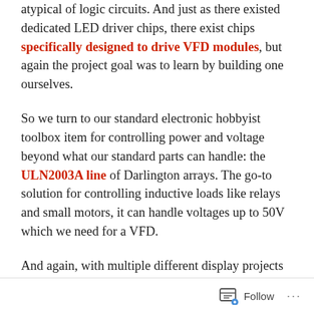atypical of logic circuits. And just as there existed dedicated LED driver chips, there exist chips specifically designed to drive VFD modules, but again the project goal was to learn by building one ourselves.
So we turn to our standard electronic hobbyist toolbox item for controlling power and voltage beyond what our standard parts can handle: the ULN2003A line of Darlington arrays. The go-to solution for controlling inductive loads like relays and small motors, it can handle voltages up to 50V which we need for a VFD.
And again, with multiple different display projects on the horizon, it didn't make sense to create a controller with hardware pinout specifically tailored to a specific unit. To keep things simple and consistent across displays, all of our controller outputs will be either left floating or tied
Follow ···